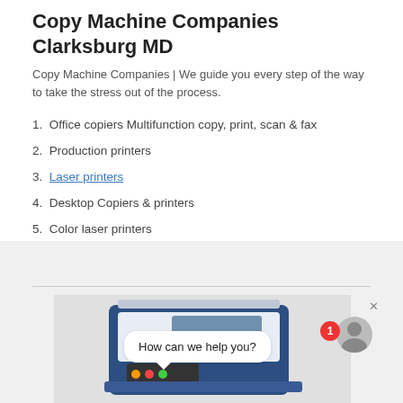Copy Machine Companies Clarksburg MD
Copy Machine Companies | We guide you every step of the way to take the stress out of the process.
1. Office copiers Multifunction copy, print, scan & fax
2. Production printers
3. Laser printers
4. Desktop Copiers & printers
5. Color laser printers
[Figure (photo): Photo of a blue and white multifunction office copy machine with a chat popup overlay saying 'How can we help you?' and a notification badge with number 1 and a user avatar.]